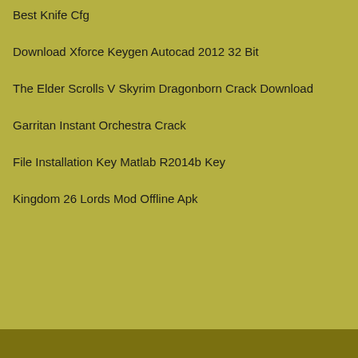Best Knife Cfg
Download Xforce Keygen Autocad 2012 32 Bit
The Elder Scrolls V Skyrim Dragonborn Crack Download
Garritan Instant Orchestra Crack
File Installation Key Matlab R2014b Key
Kingdom 26 Lords Mod Offline Apk